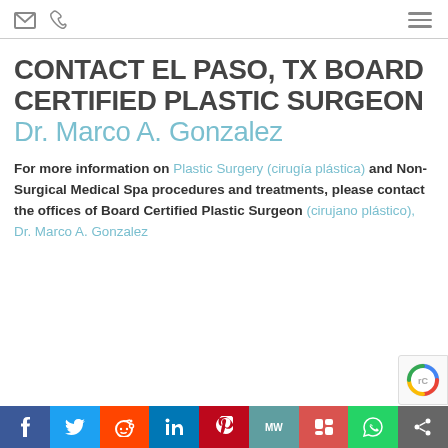[envelope icon] [phone icon] [menu icon]
CONTACT EL PASO, TX BOARD CERTIFIED PLASTIC SURGEON Dr. Marco A. Gonzalez
For more information on Plastic Surgery (cirugía plástica) and Non-Surgical Medical Spa procedures and treatments, please contact the offices of Board Certified Plastic Surgeon (cirujano plástico), Dr. Marco A. Gonzalez
f  Twitter  Reddit  in  Pinterest  MW  Mix  WhatsApp  Share